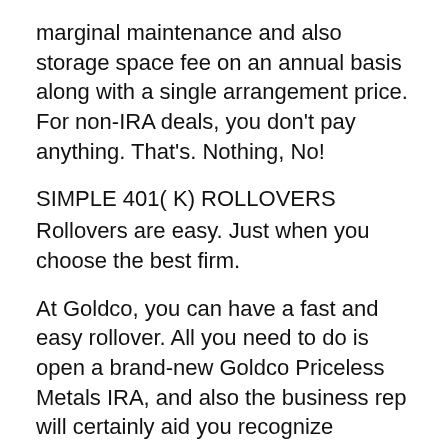marginal maintenance and also storage space fee on an annual basis along with a single arrangement price. For non-IRA deals, you don't pay anything. That's. Nothing, No!
SIMPLE 401( K) ROLLOVERS
Rollovers are easy. Just when you choose the best firm.
At Goldco, you can have a fast and easy rollover. All you need to do is open a brand-new Goldco Priceless Metals IRA, and also the business rep will certainly aid you recognize methods to money your precious metal individual retirement account using your old IRA.
As soon as the funds transfer is total, you